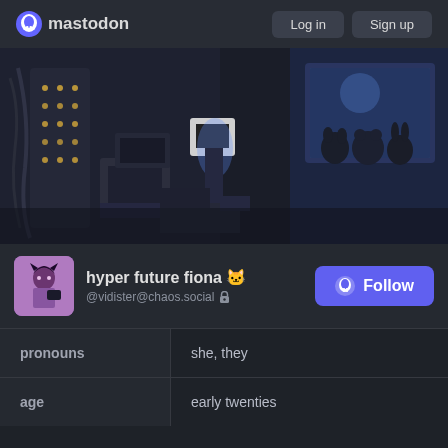mastodon  Log in  Sign up
[Figure (screenshot): Dark cyberpunk-style 3D rendered scene with a character with a TV for a head sitting among stacked monitors and computers, with glowing lights and stuffed animal figures visible in a window in the background]
hyper future fiona 🐱 @vidister@chaos.social 🔒
|  |  |
| --- | --- |
| pronouns | she, they |
| age | early twenties |